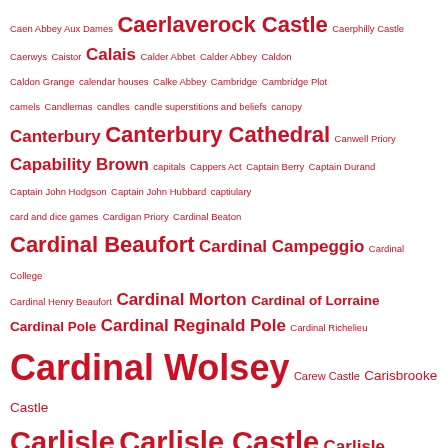Caen Abbey Aux Dames Caerlaverock Castle Caerphilly Castle Caerwys Caistor Calais Calder Abbet Calder Abbey Caldon Caldon Grange calendar houses Calke Abbey Cambridge Cambridge Plot camels Candlemas candles candle superstitions and beliefs canopy Canterbury Canterbury Cathedral Canwell Priory Capability Brown capitals Cappers Act Captain Berry Captain Durand Captain John Hodgson Captain John Hubbard captiulary card and dice games Cardigan Priory Cardinal Beaton Cardinal Beaufort Cardinal Campeggio Cardinal College Cardinal Henry Beaufort Cardinal Morton Cardinal of Lorraine Cardinal Pole Cardinal Reginald Pole Cardinal Richelieu Cardinal Wolsey Carew Castle Carisbrooke Castle Carlisle Carlisle Castle Carlisle cathedral Carlisle Charter Carlisle priory Carmarthen Caroline of Ansbach Caroz Carthusians Cartmel Cartmel Church cartoon cartulary Carucate carved bench ends Castile Castle Baynard Castle Bolton castle glossary castles Catesby Cathedrals Catherine Carey Catherine Consult Catherine Cornwell Catherine de Medici